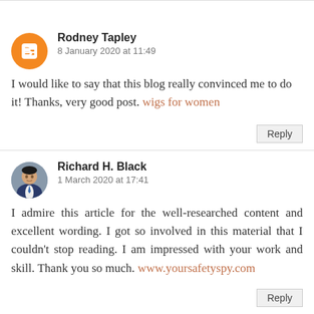Rodney Tapley
8 January 2020 at 11:49
I would like to say that this blog really convinced me to do it! Thanks, very good post. wigs for women
Reply
Richard H. Black
1 March 2020 at 17:41
I admire this article for the well-researched content and excellent wording. I got so involved in this material that I couldn't stop reading. I am impressed with your work and skill. Thank you so much. www.yoursafetyspy.com
Reply